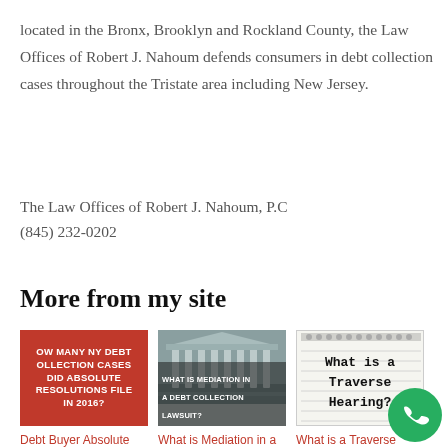located in the Bronx, Brooklyn and Rockland County, the Law Offices of Robert J. Nahoum defends consumers in debt collection cases throughout the Tristate area including New Jersey.
The Law Offices of Robert J. Nahoum, P.C
(845) 232-0202
More from my site
[Figure (photo): Red background image with white bold text: HOW MANY NY DEBT COLLECTION CASES DID ABSOLUTE RESOLUTIONS FILE IN 2016?]
[Figure (photo): Photo of a courthouse with columns, overlay text: WHAT IS MEDIATION IN A DEBT COLLECTION LAWSUIT?]
[Figure (photo): Notebook-style image with text: What is a Traverse Hearing?]
Debt Buyer Absolute Resolutions Filed Only 118
What is Mediation in a Debt Collection Lawsuit?
What is a Traverse Hearing in a Debt Collection